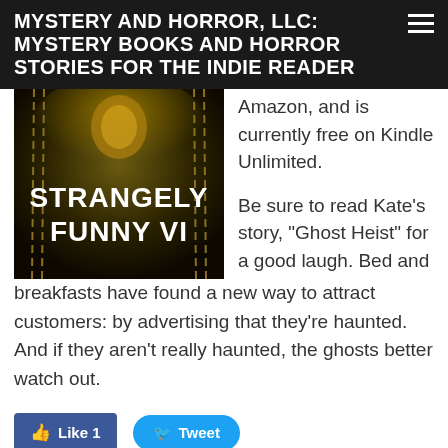MYSTERY AND HORROR, LLC: MYSTERY BOOKS AND HORROR STORIES FOR THE INDIE READER
[Figure (illustration): Book cover for 'Strangely Funny VI' with dark fantasy imagery and chains]
Amazon, and is currently free on Kindle Unlimited.
Be sure to read Kate's story, "Ghost Heist" for a good laugh. Bed and breakfasts have found a new way to attract customers: by advertising that they're haunted. And if they aren't really haunted, the ghosts better watch out.